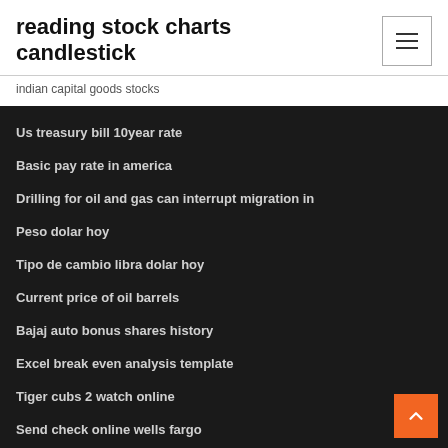reading stock charts candlestick
indian capital goods stocks
Us treasury bill 10year rate
Basic pay rate in america
Drilling for oil and gas can interrupt migration in
Peso dolar hoy
Tipo de cambio libra dolar hoy
Current price of oil barrels
Bajaj auto bonus shares history
Excel break even analysis template
Tiger cubs 2 watch online
Send check online wells fargo